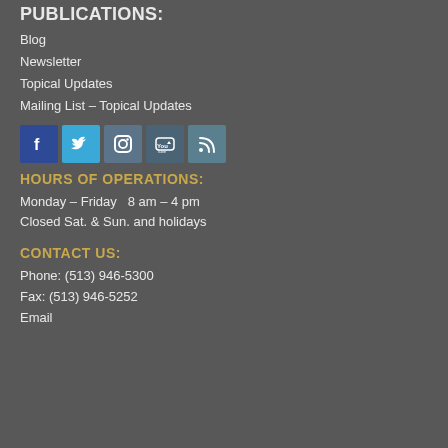PUBLICATIONS:
Blog
Newsletter
Topical Updates
Mailing List – Topical Updates
[Figure (infographic): Social media icons: Facebook, Twitter, Instagram, YouTube, RSS]
HOURS OF OPERATIONS:
Monday – Friday   8 am – 4 pm
Closed Sat. & Sun. and holidays
CONTACT US:
Phone: (513) 946-5300
Fax: (513) 946-5252
Email